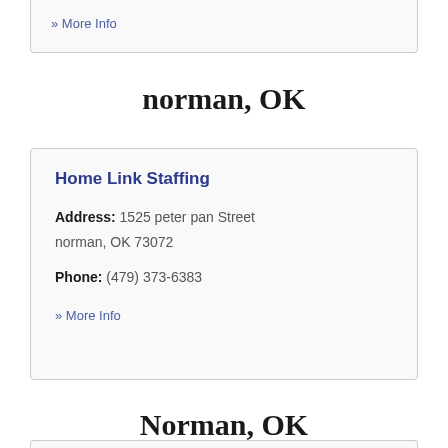» More Info
norman, OK
Home Link Staffing
Address: 1525 peter pan Street norman, OK 73072
Phone: (479) 373-6383
» More Info
Norman, OK